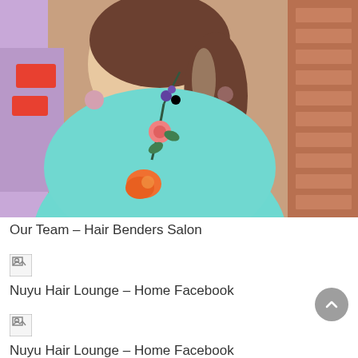[Figure (photo): Photo of a woman with brown hair wearing a teal/turquoise sweater with floral embroidery (orange and purple flowers). She is standing in front of a brick wall. A purple garment is visible on the left side.]
Our Team – Hair Benders Salon
[Figure (photo): Broken/missing image icon]
Nuyu Hair Lounge – Home Facebook
[Figure (photo): Broken/missing image icon]
Nuyu Hair Lounge – Home Facebook